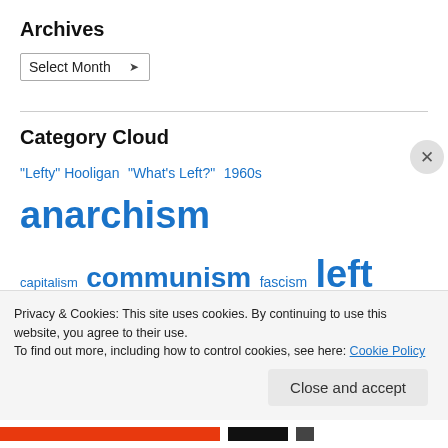Archives
Select Month
Category Cloud
"Lefty" Hooligan  "What's Left?"  1960s  anarchism  capitalism  communism  fascism  left communism  Leninism  Maoism  Marxism  Marxism-Leninism  Politics  socialism  ultraleftism
Privacy & Cookies: This site uses cookies. By continuing to use this website, you agree to their use.
To find out more, including how to control cookies, see here: Cookie Policy
Close and accept